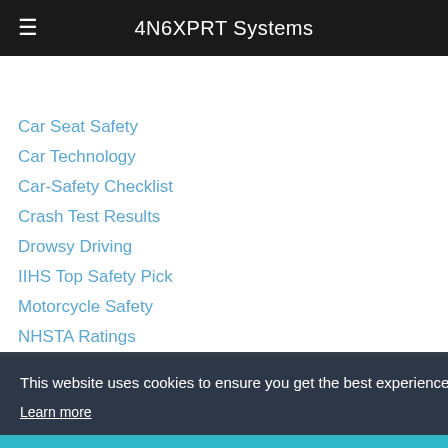4N6XPRT Systems
Car Seat Safety
Car Technology
Car-Safety Checklist
Crash Test Results
Drowsy Driving
IIHS Top Safety Pick
Motorcycle Safety
NHSTA Ratings
Safest Vehicles for 2019
Self-Driving Cars
Uninsured
Vehicle Accident FAQs
Vehicle Accident Reconstruction
Vehicle Facts
Vehicle Tech
This website uses cookies to ensure you get the best experience on our website.
Learn more
Got it!
LEGAL STUFF